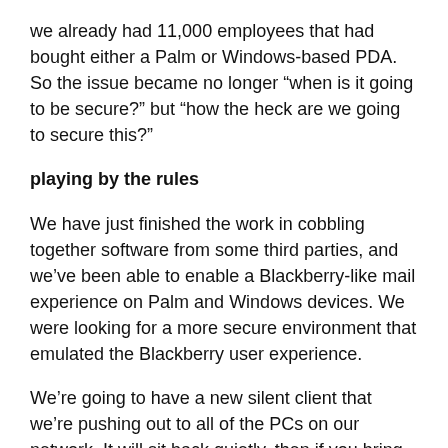we already had 11,000 employees that had bought either a Palm or Windows-based PDA. So the issue became no longer “when is it going to be secure?” but “how the heck are we going to secure this?”
playing by the rules
We have just finished the work in cobbling together software from some third parties, and we’ve been able to enable a Blackberry-like mail experience on Palm and Windows devices. We were looking for a more secure environment that emulated the Blackberry user experience.
We’re going to have a new silent client that we’re pushing out to all of the PCs on our network. It will sit back quietly, then if you bring in and try to install any of the software associated with one of these PDA